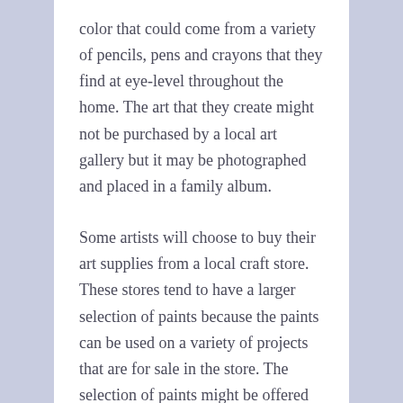color that could come from a variety of pencils, pens and crayons that they find at eye-level throughout the home. The art that they create might not be purchased by a local art gallery but it may be photographed and placed in a family album.
Some artists will choose to buy their art supplies from a local craft store. These stores tend to have a larger selection of paints because the paints can be used on a variety of projects that are for sale in the store. The selection of paints might be offered in tubes that can dispense paint onto boards where they can be combined with other colors as the artist paints a variety of images on a variety of materials.
The mediums used to display art can be canvas that is